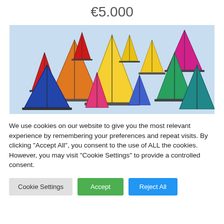€5.000
[Figure (photo): Colorful ceramic or painted sailboat decorations arranged together on a light blue background, showing multiple triangle-shaped sails in red, yellow, pink, blue, green, and orange colors.]
We use cookies on our website to give you the most relevant experience by remembering your preferences and repeat visits. By clicking "Accept All", you consent to the use of ALL the cookies. However, you may visit "Cookie Settings" to provide a controlled consent.
Cookie Settings
Accept
Reject All